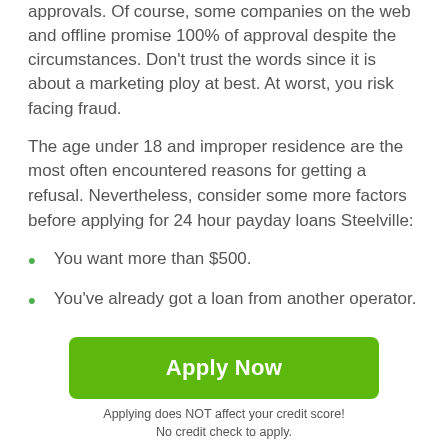approvals. Of course, some companies on the web and offline promise 100% of approval despite the circumstances. Don't trust the words since it is about a marketing ploy at best. At worst, you risk facing fraud.
The age under 18 and improper residence are the most often encountered reasons for getting a refusal. Nevertheless, consider some more factors before applying for 24 hour payday loans Steelville:
You want more than $500.
You've already got a loan from another operator.
The term you need is under seven or over 31 days.
[Figure (other): Scroll-to-top button: dark grey rounded square with white upward arrow]
Apply Now
Applying does NOT affect your credit score!
No credit check to apply.